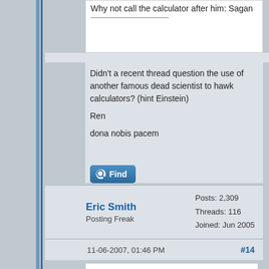Why not call the calculator after him: Sagan
Didn't a recent thread question the use of another famous dead scientist to hawk calculators? (hint Einstein)

Ren

dona nobis pacem
Find
Eric Smith
Posting Freak
Posts: 2,309
Threads: 116
Joined: Jun 2005
11-06-2007, 01:46 PM
#14
Quote:
Why not call the calculator after him: Sagan